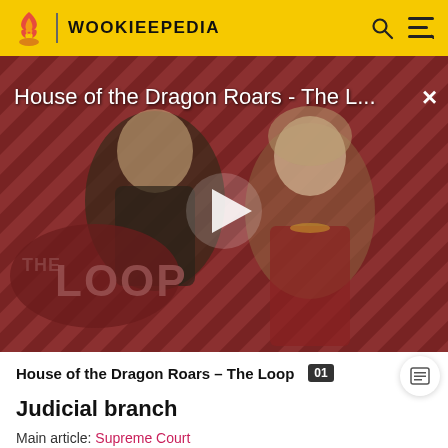WOOKIEEPEDIA
[Figure (screenshot): Video thumbnail for 'House of the Dragon Roars - The Loop' showing two characters against a diagonal red and dark stripe background, with a THE LOOP watermark and a play button in the center.]
House of the Dragon Roars - The Loop
Judicial branch
Main article: Supreme Court
Main article: Regional Court